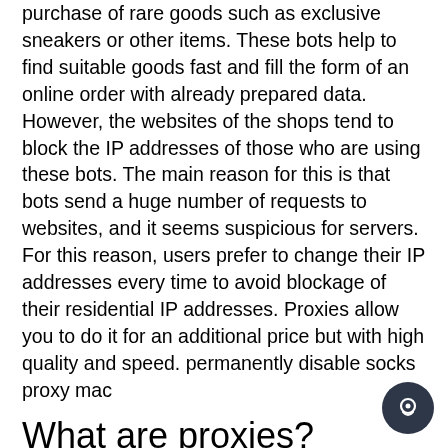purchase of rare goods such as exclusive sneakers or other items. These bots help to find suitable goods fast and fill the form of an online order with already prepared data. However, the websites of the shops tend to block the IP addresses of those who are using these bots. The main reason for this is that bots send a huge number of requests to websites, and it seems suspicious for servers. For this reason, users prefer to change their IP addresses every time to avoid blockage of their residential IP addresses. Proxies allow you to do it for an additional price but with high quality and speed. permanently disable socks proxy mac
What are proxies?
Proxies are services that are primarily used for providing security and anonymity to their users. When using proxies, a person's request does not go straight to the Internet. On the contrary, it goes to a proxy server that hides an original IP address and